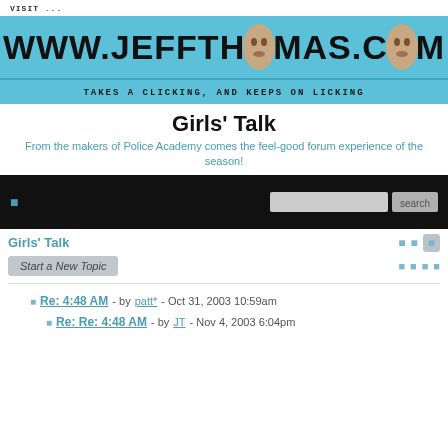[Figure (illustration): Website banner for www.jeffthomas.com with two face photos substituting letters in the URL, on a teal/blue background. Tagline: TAKES A CLICKING, AND KEEPS ON LICKING]
Girls' Talk
From the makers of Police Academy comes the feel-good forum experience of the season!
[Figure (screenshot): Dark navigation bar with a small icon on the left and a search input box with search button on the right]
Girls' Talk
Start a New Topic
Re: 4:48 AM - by patt* - Oct 31, 2003 10:59am
Re: Re: 4:48 AM - by JT - Nov 4, 2003 6:04pm